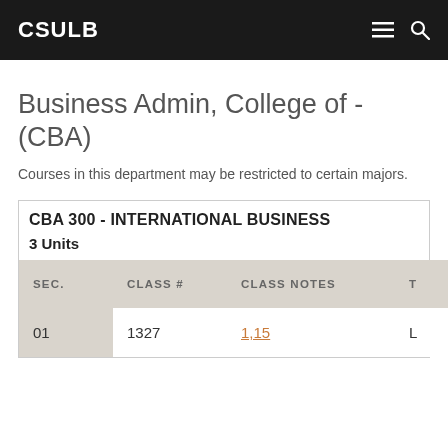CSULB
Business Admin, College of - (CBA)
Courses in this department may be restricted to certain majors.
CBA 300 - INTERNATIONAL BUSINESS
3 Units
| SEC. | CLASS # | CLASS NOTES | T |
| --- | --- | --- | --- |
| 01 | 1327 | 1,15 | L |